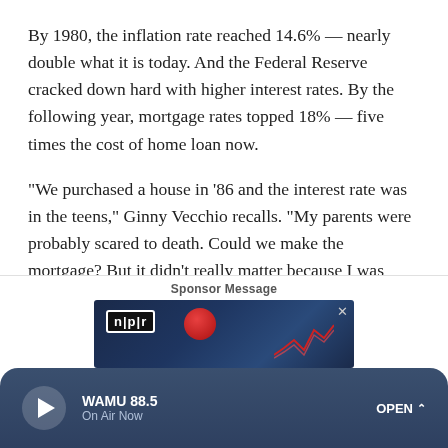By 1980, the inflation rate reached 14.6% — nearly double what it is today. And the Federal Reserve cracked down hard with higher interest rates. By the following year, mortgage rates topped 18% — five times the cost of home loan now.
"We purchased a house in '86 and the interest rate was in the teens," Ginny Vecchio recalls. "My parents were probably scared to death. Could we make the mortgage? But it didn't really matter because I was young and ignorance is bliss."
Sponsor Message
[Figure (screenshot): NPR advertisement banner with dark blue background, NPR logo, red circle graphic, and decorative lines]
WAMU 88.5 — On Air Now — OPEN